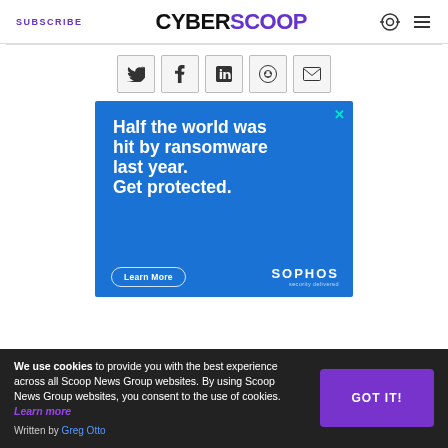SUBSCRIBE | CYBERSCOOP
[Figure (infographic): Social sharing icons: Twitter, Facebook, LinkedIn, Reddit, Email]
[Figure (infographic): Advertisement banner with blue background. Text: Half the world was hit by ransomware last year. Get protected. Learn More button. Sophos logo with 'security delivered' tagline.]
We use cookies to provide you with the best experience across all Scoop News Group websites. By using Scoop News Group websites, you consent to the use of cookies. Learn more
Written by Greg Otto